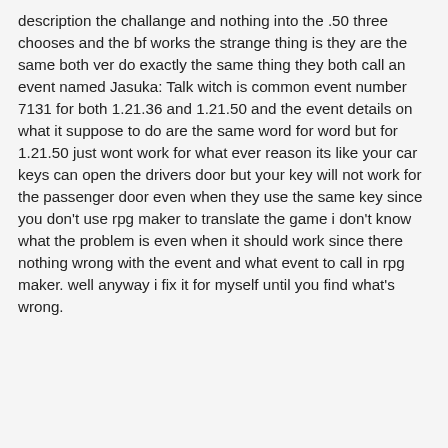description the challange and nothing into the .50 three chooses and the bf works the strange thing is they are the same both ver do exactly the same thing they both call an event named Jasuka: Talk witch is common event number 7131 for both 1.21.36 and 1.21.50 and the event details on what it suppose to do are the same word for word but for 1.21.50 just wont work for what ever reason its like your car keys can open the drivers door but your key will not work for the passenger door even when they use the same key since you don't use rpg maker to translate the game i don't know what the problem is even when it should work since there nothing wrong with the event and what event to call in rpg maker. well anyway i fix it for myself until you find what's wrong.